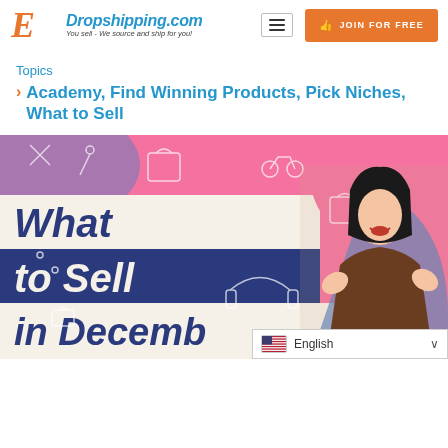Dropshipping.com – You sell - We source and ship for you!
JOIN FOR FREE
Topics
Academy, Find Winning Products, Pick Niches, What to Sell
[Figure (illustration): Promotional banner image with pink and blue background showing a woman in a brown sweater with text 'What to Sell in December' and various product icons (handbag, scooter, armchair, watch, headphones)]